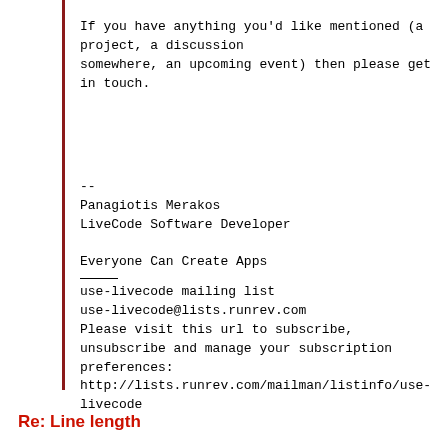If you have anything you'd like mentioned (a project, a discussion somewhere, an upcoming event) then please get in touch.
--
Panagiotis Merakos
LiveCode Software Developer

Everyone Can Create Apps
use-livecode mailing list
use-livecode@lists.runrev.com
Please visit this url to subscribe, unsubscribe and manage your subscription preferences:
http://lists.runrev.com/mailman/listinfo/use-livecode
Re: Line length